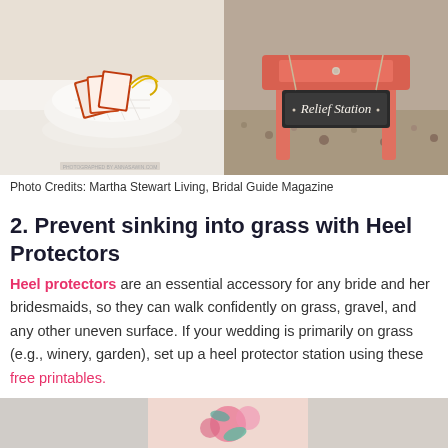[Figure (photo): Two photos side by side: left shows orange-framed items in a white milk glass bowl on a white lace surface; right shows a coral/pink painted side table with a 'Relief Station' chalkboard sign on a gravelly outdoor surface.]
Photo Credits: Martha Stewart Living, Bridal Guide Magazine
2. Prevent sinking into grass with Heel Protectors
Heel protectors are an essential accessory for any bride and her bridesmaids, so they can walk confidently on grass, gravel, and any other uneven surface. If your wedding is primarily on grass (e.g., winery, garden), set up a heel protector station using these free printables.
[Figure (photo): Bottom partial image showing pink floral design items, partially cropped.]